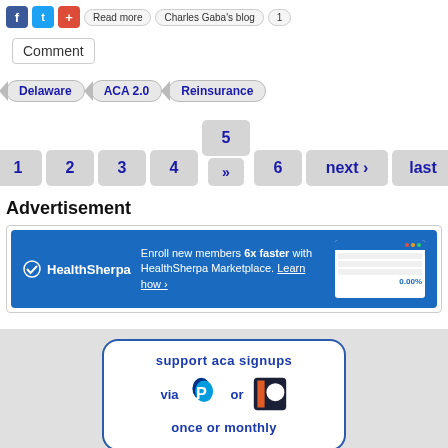Comment
Delaware | ACA 2.0 | Reinsurance
Pagination: 1 2 3 4 5 6 next › last »
Advertisement
[Figure (screenshot): HealthSherpa banner ad: Enroll new members 6x faster with HealthSherpa Marketplace. Learn how > with a screenshot of the interface on the right.]
[Figure (infographic): Support ACA Signups donation box: 'support aca signups via [PayPal logo] or [Patreon logo] once or monthly']